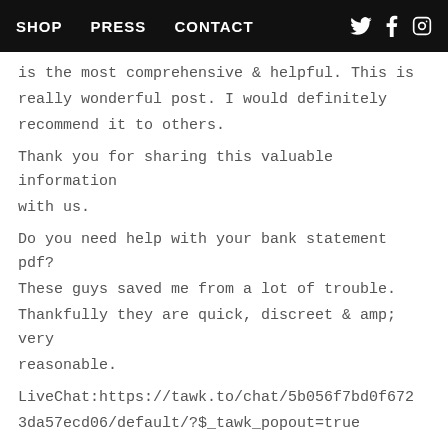SHOP   PRESS   CONTACT
is the most comprehensive & helpful. This is really wonderful post. I would definitely recommend it to others.
Thank you for sharing this valuable information with us.
Do you need help with your bank statement pdf? These guys saved me from a lot of trouble. Thankfully they are quick, discreet & amp; very reasonable.
LiveChat:https://tawk.to/chat/5b056f7bd0f6723da57ecd06/default/?$_tawk_popout=true
Call / Message on WhatsApp : +1 914 274 8666
Contact: (+1) 914 202 3836